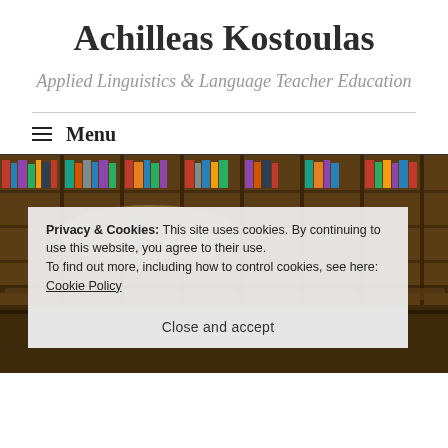Achilleas Kostoulas
Applied Linguistics & Language Teacher Education
≡ Menu
[Figure (photo): Library interior with bookshelves and reading lamps in warm lighting]
Privacy & Cookies: This site uses cookies. By continuing to use this website, you agree to their use.
To find out more, including how to control cookies, see here: Cookie Policy
Close and accept